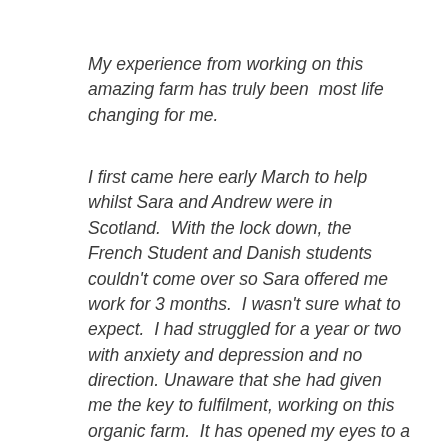My experience from working on this amazing farm has truly been  most life changing for me.
I first came here early March to help whilst Sara and Andrew were in Scotland.  With the lock down, the French Student and Danish students couldn't come over so Sara offered me work for 3 months.  I wasn't sure what to expect.  I had struggled for a year or two with anxiety and depression and no direction. Unaware that she had given me the key to fulfilment, working on this organic farm.  It has opened my eyes to a whole new world.  Working together as a team with Sara, Andrew, Phil and